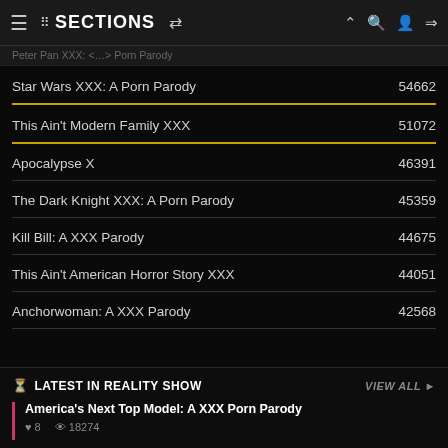SECTIONS
Peter Pan XXX: … Porn Parody
Star Wars XXX: A Porn Parody  54662
This Ain't Modern Family XXX  51072
Apocalypse X  46391
The Dark Knight XXX: A Porn Parody  45359
Kill Bill: A XXX Parody  44675
This Ain't American Horror Story XXX  44051
Anchorwoman: A XXX Parody  42568
LATEST IN REALITY SHOW
VIEW ALL ▶
America's Next Top Model: A XXX Porn Parody
♥ 8   👁 18274